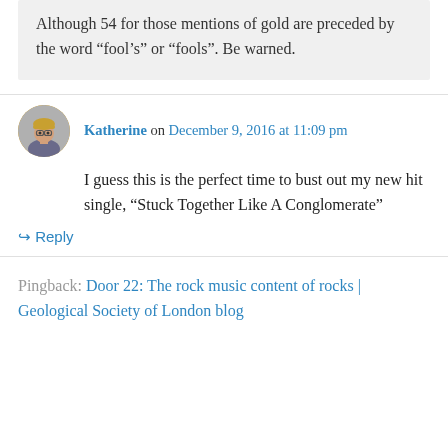Although 54 for those mentions of gold are preceded by the word “fool’s” or “fools”. Be warned.
Katherine on December 9, 2016 at 11:09 pm
I guess this is the perfect time to bust out my new hit single, “Stuck Together Like A Conglomerate”
↳ Reply
Pingback: Door 22: The rock music content of rocks | Geological Society of London blog